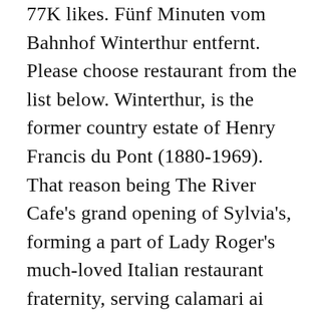77K likes. Fünf Minuten vom Bahnhof Winterthur entfernt. Please choose restaurant from the list below. Winterthur, is the former country estate of Henry Francis du Pont (1880-1969). That reason being The River Cafe's grand opening of Sylvia's, forming a part of Lady Roger's much-loved Italian restaurant fraternity, serving calamari ai ferri to pannacotta. Für Reservationen und andere Anfragen sind wir telefonisch oder per Mail erreichbar. For 18 years, Restaurant Associates has been the exclusive caterer at Winterthur Museum. Riva, #4 von Winterthur Cafés: 238 Resenzionen und 20 Fotos. By Miranda Milicic Bradbury 6 February 2018 . Menu items include premium seafood, prime steaks and daily